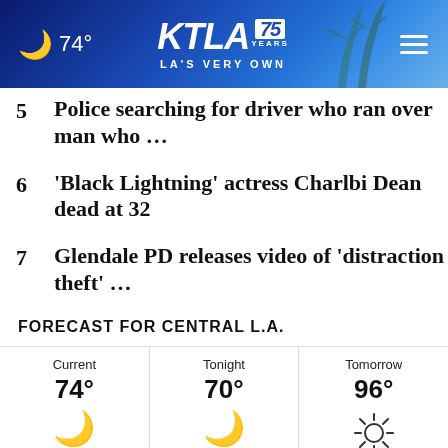[Figure (screenshot): KTLA 75 Years news app header with moon icon, 74° temperature, KTLA logo, and palm tree background]
5  Police searching for driver who ran over man who …
6  'Black Lightning' actress Charlbi Dean dead at 32
7  Glendale PD releases video of 'distraction theft' …
FORECAST FOR CENTRAL L.A.
| Current | Tonight | Tomorrow |
| --- | --- | --- |
| 74° | 70° | 96° |
| 🌙 Clear | 🌙 Clear | ☀ Sunny |